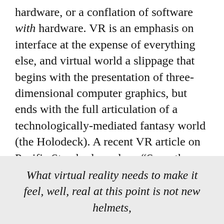hardware, or a conflation of software with hardware. VR is an emphasis on interface at the expense of everything else, and virtual world a slippage that begins with the presentation of three-dimensional computer graphics, but ends with the full articulation of a technologically-mediated fantasy world (the Holodeck). A recent VR article on Pacific Standard ponders: “Sure, these bulky helmets give us a simulation of three-dimensional space directly to our eyeballs. But then what?":
What virtual reality needs to make it feel, well, real at this point is not new helmets,